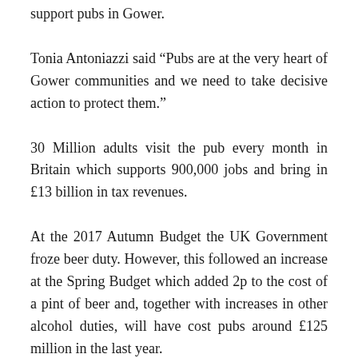support pubs in Gower.
Tonia Antoniazzi said “Pubs are at the very heart of Gower communities and we need to take decisive action to protect them.”
30 Million adults visit the pub every month in Britain which supports 900,000 jobs and bring in £13 billion in tax revenues.
At the 2017 Autumn Budget the UK Government froze beer duty. However, this followed an increase at the Spring Budget which added 2p to the cost of a pint of beer and, together with increases in other alcohol duties, will have cost pubs around £125 million in the last year.
“...